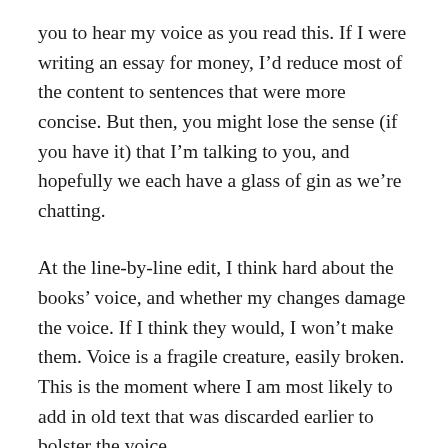you to hear my voice as you read this. If I were writing an essay for money, I'd reduce most of the content to sentences that were more concise. But then, you might lose the sense (if you have it) that I'm talking to you, and hopefully we each have a glass of gin as we're chatting.
At the line-by-line edit, I think hard about the books' voice, and whether my changes damage the voice. If I think they would, I won't make them. Voice is a fragile creature, easily broken. This is the moment where I am most likely to add in old text that was discarded earlier to bolster the voice.
Fixing pacing is the last, well almost last, thing on the